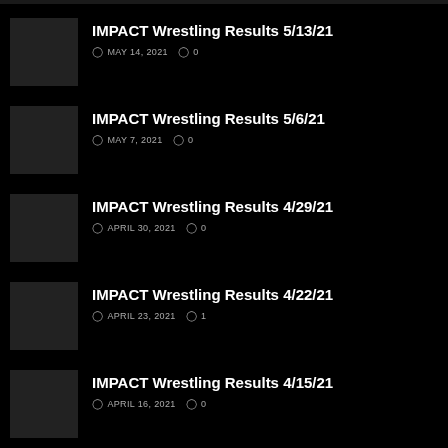IMPACT Wrestling Results 5/13/21 — MAY 14, 2021 — 0 comments
IMPACT Wrestling Results 5/6/21 — MAY 7, 2021 — 0 comments
IMPACT Wrestling Results 4/29/21 — APRIL 30, 2021 — 0 comments
IMPACT Wrestling Results 4/22/21 — APRIL 23, 2021 — 1 comment
IMPACT Wrestling Results 4/15/21 — APRIL 16, 2021 — 0 comments